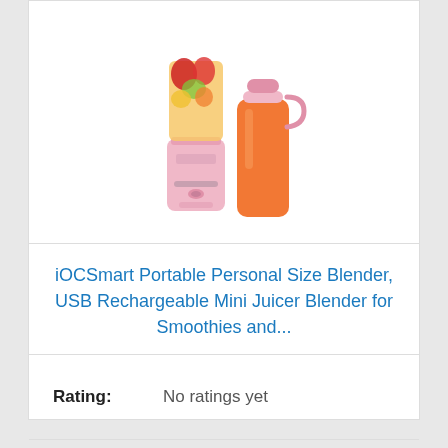[Figure (photo): Product photo of iOCSmart portable personal blender — a pink USB rechargeable blender with fruit inside, alongside an orange juice bottle with a pink lid]
iOCSmart Portable Personal Size Blender, USB Rechargeable Mini Juicer Blender for Smoothies and...
Rating: No ratings yet
Buy on Amazon